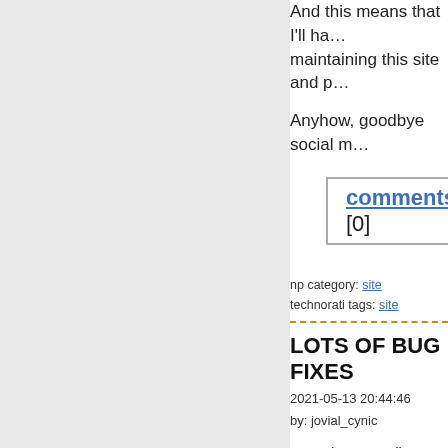And this means that I'll ha… maintaining this site and p…
Anyhow, goodbye social m…
comments [0]
np category: site
technorati tags: site
LOTS OF BUG FIXES
2021-05-13 20:44:46
by: jovial_cynic
I've been nerding out this… this site. Apparently, I had… youtube videos using som… support went away a long… up.
Having embedded code a… competitor will come in an… this site? How annoying w…
I could personally host all… couldn't host videos that c… that situation, other than j…